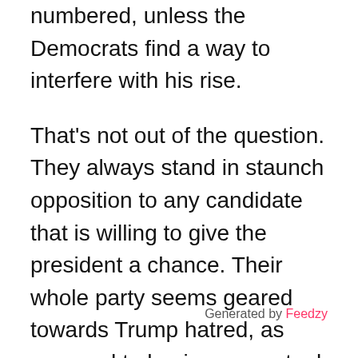numbered, unless the Democrats find a way to interfere with his rise.
That's not out of the question. They always stand in staunch opposition to any candidate that is willing to give the president a chance. Their whole party seems geared towards Trump hatred, as opposed to having any actual plans. A Republican with a real plan to repair damaged cities in the United States is their worst nightmare.
They need to stay in their places and focus on themselves, namely Maxine Waters. If $3 million in donations doesn't speak loudly
Generated by Feedzy